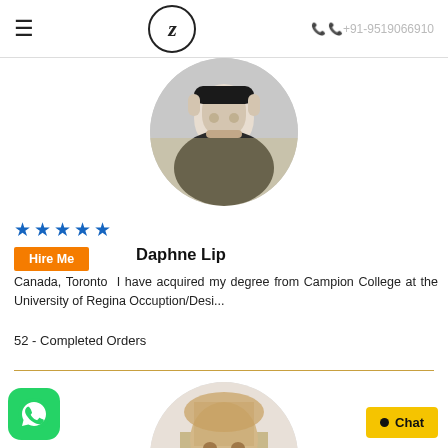≡  Z  +91-9519066910
[Figure (photo): Circular profile photo of a person in dark jacket against yellow background]
★★★★★
Hire Me
Daphne Lip
Canada, Toronto  I have acquired my degree from Campion College at the University of Regina Occuption/Desi...
52 - Completed Orders
[Figure (photo): Circular profile photo of a middle-aged man with light brown hair and beard]